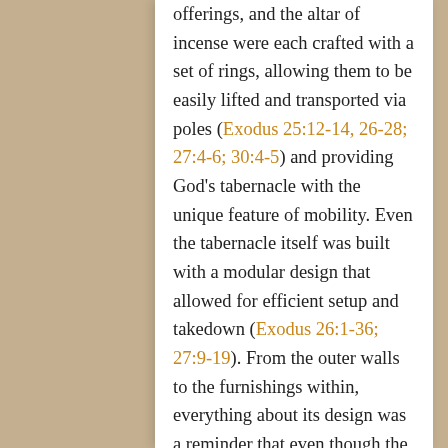offerings, and the altar of incense were each crafted with a set of rings, allowing them to be easily lifted and transported via poles (Exodus 25:12-14, 26-28; 27:4-6; 30:4-5) and providing God's tabernacle with the unique feature of mobility. Even the tabernacle itself was built with a modular design that allowed for efficient setup and takedown (Exodus 26:1-36; 27:9-19). From the outer walls to the furnishings within, everything about its design was a reminder that even though the tabernacle was a constant, its location was not. When God moved, Israel and the tabernacle were to